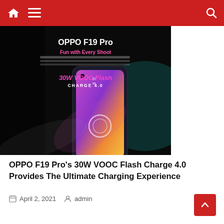Navigation bar with home, menu, and search icons
[Figure (photo): OPPO F19 Pro promotional image showing the phone with 30W VOOC Flash Charge 4.0 feature, dark background with pink/purple lighting, phone being charged via USB cable. Text on image: 'OPPO F19 Pro', 'Fun with Every Shoot', '30W VOOC Flash CHARGE 4.0']
OPPO F19 Pro's 30W VOOC Flash Charge 4.0 Provides The Ultimate Charging Experience
April 2, 2021   admin